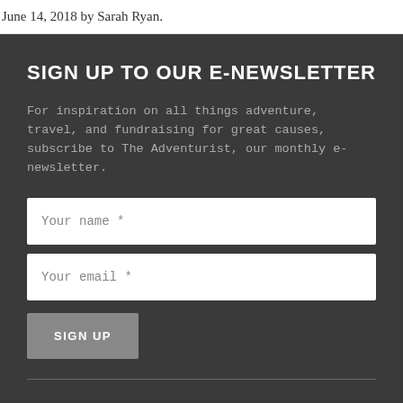June 14, 2018 by Sarah Ryan.
SIGN UP TO OUR E-NEWSLETTER
For inspiration on all things adventure, travel, and fundraising for great causes, subscribe to The Adventurist, our monthly e-newsletter.
CONTACT US